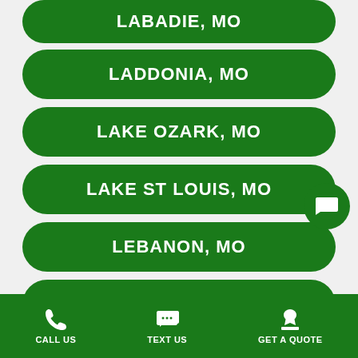LABADIE, MO
LADDONIA, MO
LAKE OZARK, MO
LAKE ST LOUIS, MO
LEBANON, MO
LINCOLN COUNTY, MO
LITCHFIELD, IL
CALL US   TEXT US   GET A QUOTE